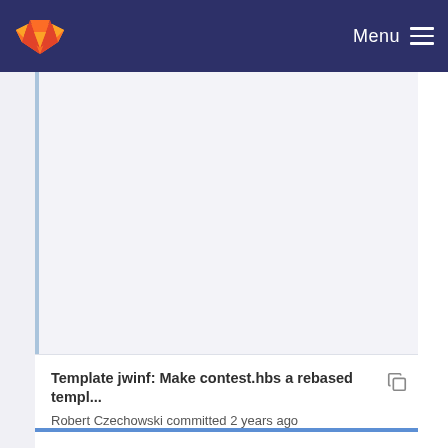Menu
[Figure (other): Blank whitish area showing an empty scrollable content region in a GitLab mobile web interface]
Template jwinf: Make contest.hbs a rebased templ...
Robert Czechowski committed 2 years ago
Add config switch to enable password login
Robert Czechowski committed 1 year ago